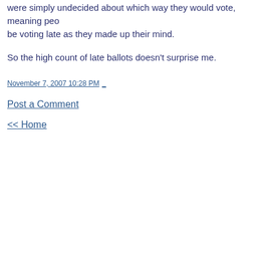were simply undecided about which way they would vote, meaning people would be voting late as they made up their mind.
So the high count of late ballots doesn't surprise me.
November 7, 2007 10:28 PM
Post a Comment
<< Home